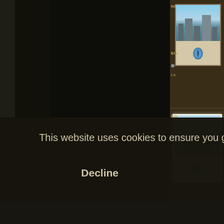[Figure (screenshot): Magic: The Gathering card database screenshot showing a dark interface with a large black main panel on the left and a right sidebar with Island card thumbnails. Cards shown include Island versions with art of city skylines, island landmasses, and water/ice imagery. Each card entry shows a thumbnail, truncated card name (Isla...), set/edition info, a gray dot indicator, and land type label (La..., Be..., Co..., Int..., Pr..., Du...). A cookie consent banner overlays the lower portion with dark background, text reading 'This website uses cookies to ensure you get the best experience on our website.' and two buttons: 'Decline' (plain text) and 'Allow cookies' (gold bordered).]